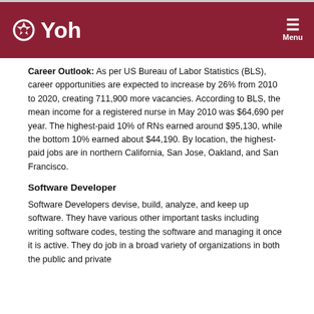Yoh — Menu
Career Outlook: As per US Bureau of Labor Statistics (BLS), career opportunities are expected to increase by 26% from 2010 to 2020, creating 711,900 more vacancies. According to BLS, the mean income for a registered nurse in May 2010 was $64,690 per year. The highest-paid 10% of RNs earned around $95,130, while the bottom 10% earned about $44,190. By location, the highest-paid jobs are in northern California, San Jose, Oakland, and San Francisco.
Software Developer
Software Developers devise, build, analyze, and keep up software. They have various other important tasks including writing software codes, testing the software and managing it once it is active. They do job in a broad variety of organizations in both the public and private